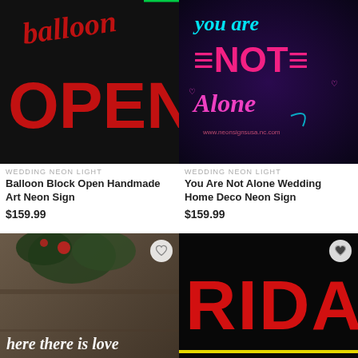[Figure (photo): Neon sign on black background showing 'balloon OPEN' in red neon lights]
WEDDING NEON LIGHT
Balloon Block Open Handmade Art Neon Sign
$159.99
[Figure (photo): Colorful neon sign on dark background showing 'you are NOT Alone' in blue, red, and pink neon lights]
WEDDING NEON LIGHT
You Are Not Alone Wedding Home Deco Neon Sign
$159.99
[Figure (photo): White neon sign reading 'where there is love there is' mounted on concrete wall with greenery]
[Figure (photo): Red neon sign on black background showing 'RIDA' with yellow line and partial 'Open' text below]